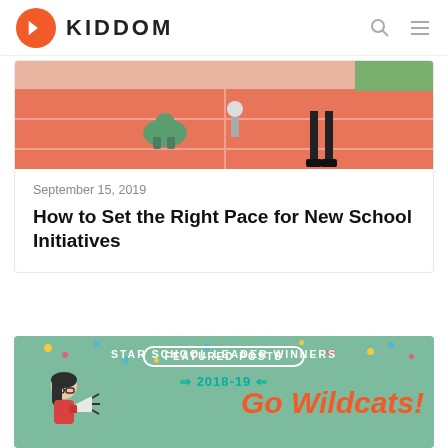KIDDOM
[Figure (illustration): Racing track illustration showing characters on a red track with lane lines]
September 15, 2019
How to Set the Right Pace for New School Initiatives
[Figure (illustration): Featured Posts banner with green background showing Star School Leader Winners 2018-19 with Go Wildcats text and woman with megaphone illustration]